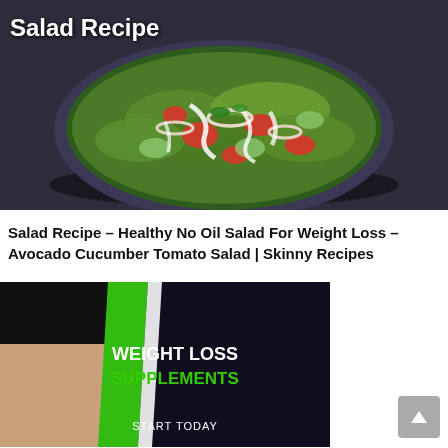[Figure (photo): Photo of a salad bowl with avocado, cucumber, tomato, onion rings and white dressing on a dark background, with text overlay 'Salad Recipe' in white bold font top-left]
Salad Recipe – Healthy No Oil Salad For Weight Loss – Avocado Cucumber Tomato Salad | Skinny Recipes
[Figure (photo): Advertisement banner showing person's legs in black pants against dark background with green and white diagonal stripe, text: WEIGHT LOSS SUPPLEMENTS START TODAY]